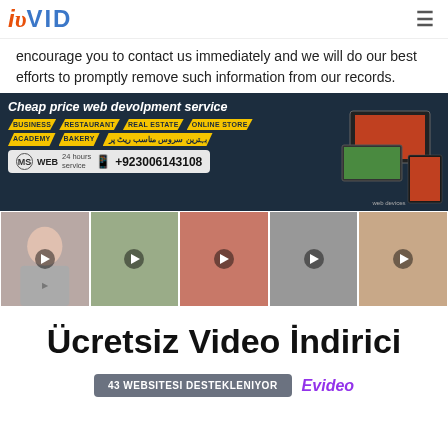iVID
encourage you to contact us immediately and we will do our best efforts to promptly remove such information from our records.
[Figure (infographic): Advertisement banner for MS WEB cheap price web development service showing business categories (BUSINESS, RESTAURANT, REAL ESTATE, ONLINE STORE, ACADEMY, BAKERY) with phone number +923006143108]
[Figure (photo): Row of five video thumbnail images showing women, each with a play button overlay]
Ücretsiz Video İndirici
43 WEBSITESI DESTEKLENIYOR  Evideo